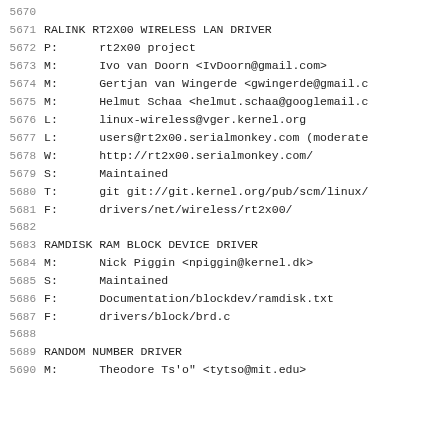5670 (blank)
5671  RALINK RT2X00 WIRELESS LAN DRIVER
5672  P:      rt2x00 project
5673  M:      Ivo van Doorn <IvDoorn@gmail.com>
5674  M:      Gertjan van Wingerde <gwingerde@gmail.c
5675  M:      Helmut Schaa <helmut.schaa@googlemail.c
5676  L:      linux-wireless@vger.kernel.org
5677  L:      users@rt2x00.serialmonkey.com (moderate
5678  W:      http://rt2x00.serialmonkey.com/
5679  S:      Maintained
5680  T:      git git://git.kernel.org/pub/scm/linux/
5681  F:      drivers/net/wireless/rt2x00/
5682 (blank)
5683  RAMDISK RAM BLOCK DEVICE DRIVER
5684  M:      Nick Piggin <npiggin@kernel.dk>
5685  S:      Maintained
5686  F:      Documentation/blockdev/ramdisk.txt
5687  F:      drivers/block/brd.c
5688 (blank)
5689  RANDOM NUMBER DRIVER
5690  M:      Theodore Ts'o" <tytso@mit.edu>